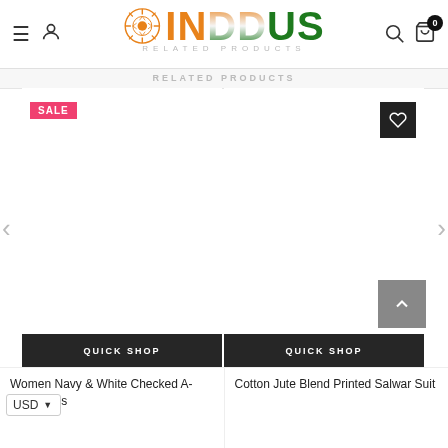INDDUS — RELATED PRODUCTS
RELATED PRODUCTS
[Figure (screenshot): E-commerce product listing page for INDDUS brand showing related products carousel with SALE badge, heart/wishlist buttons, Quick Shop bars, and two product titles: Women Navy & White Checked A-Line Dress and Cotton Jute Blend Printed Salwar Suit]
Women Navy & White Checked A-Line Dress
Cotton Jute Blend Printed Salwar Suit